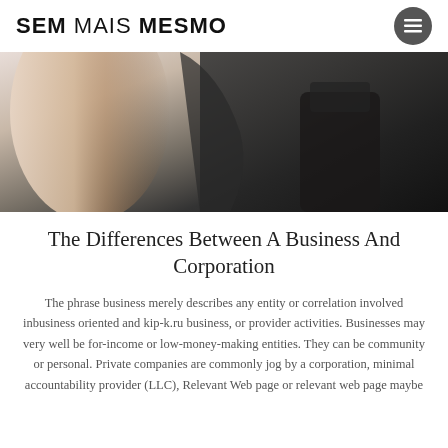SEM MAIS MESMO
[Figure (photo): Close-up photo of a person wearing a black outfit, with an arm raised, showing skin and dark fabric texture.]
The Differences Between A Business And Corporation
The phrase business merely describes any entity or correlation involved inbusiness oriented and kip-k.ru business, or provider activities. Businesses may very well be for-income or low-money-making entities. They can be community or personal. Private companies are commonly jog by a corporation, minimal accountability provider (LLC), Relevant Web page or relevant web page maybe